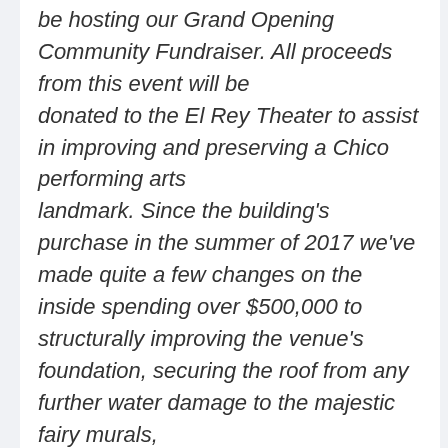be hosting our Grand Opening Community Fundraiser. All proceeds from this event will be donated to the El Rey Theater to assist in improving and preserving a Chico performing arts landmark. Since the building's purchase in the summer of 2017 we've made quite a few changes on the inside spending over $500,000 to structurally improving the venue's foundation, securing the roof from any further water damage to the majestic fairy murals, extending the stage along with adding in a large standing room area in front of the stage, sandblasting and uncovering the original natural brick to give the stage the perfect